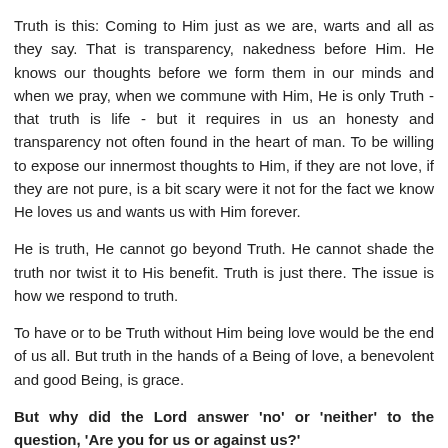Truth is this: Coming to Him just as we are, warts and all as they say. That is transparency, nakedness before Him. He knows our thoughts before we form them in our minds and when we pray, when we commune with Him, He is only Truth - that truth is life - but it requires in us an honesty and transparency not often found in the heart of man. To be willing to expose our innermost thoughts to Him, if they are not love, if they are not pure, is a bit scary were it not for the fact we know He loves us and wants us with Him forever.
He is truth, He cannot go beyond Truth. He cannot shade the truth nor twist it to His benefit. Truth is just there. The issue is how we respond to truth.
To have or to be Truth without Him being love would be the end of us all. But truth in the hands of a Being of love, a benevolent and good Being, is grace.
But why did the Lord answer 'no' or 'neither' to the question, 'Are you for us or against us?'
That is for next week, until then, blessings,